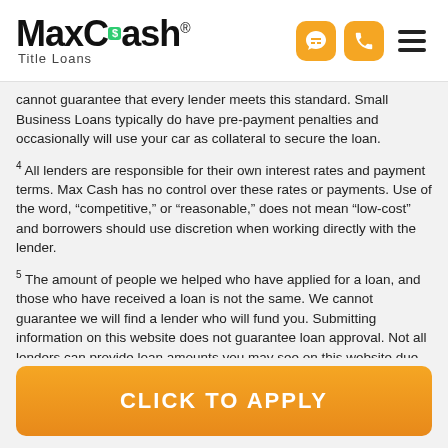MaxCash Title Loans
cannot guarantee that every lender meets this standard. Small Business Loans typically do have pre-payment penalties and occasionally will use your car as collateral to secure the loan.
4 All lenders are responsible for their own interest rates and payment terms. Max Cash has no control over these rates or payments. Use of the word, “competitive,” or “reasonable,” does not mean “low-cost” and borrowers should use discretion when working directly with the lender.
5 The amount of people we helped who have applied for a loan, and those who have received a loan is not the same. We cannot guarantee we will find a lender who will fund you. Submitting information on this website does not guarantee loan approval. Not all lenders can provide loan amounts you may see on this website due to state laws or individual lender requirements.
In some circumstances faxing may be required. Use of your cell phone to
[Figure (other): Orange CLICK TO APPLY button]